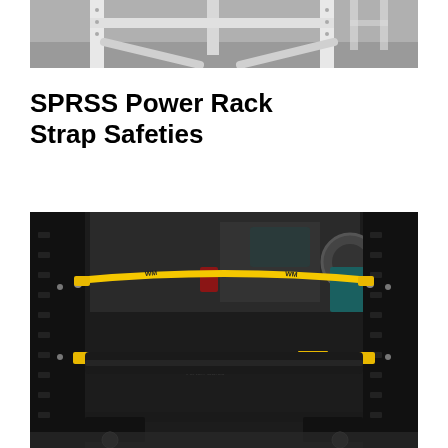[Figure (photo): Top partial view of a white/grey power rack or barbell storage system on a grey floor, shot from an angle showing the cross-bars and uprights.]
SPRSS Power Rack Strap Safeties
[Figure (photo): A black power rack with yellow safety straps (branded WM / Western Safes) stretched horizontally between the uprights at two levels. A weight bench is visible inside the rack with gym equipment in the background.]